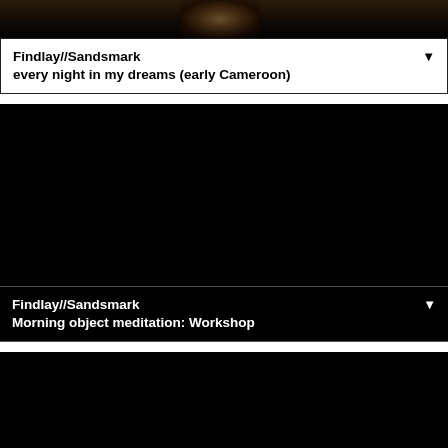[Figure (photo): Dark/black stage performance video thumbnail with figure visible at top]
Findlay//Sandsmark
every night in my dreams (early Cameroon)
[Figure (photo): Mostly black video thumbnail - second video]
Findlay//Sandsmark
Morning object meditation: Workshop
[Figure (photo): Mostly black video thumbnail - third video, partial view]